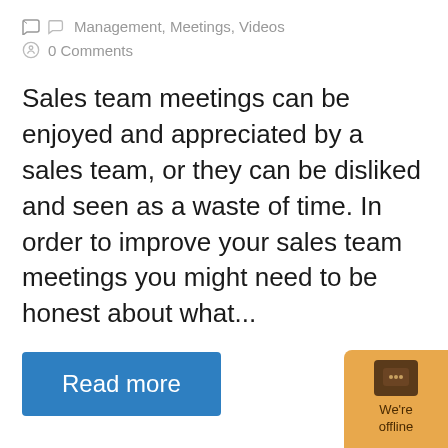Management, Meetings, Videos
0 Comments
Sales team meetings can be enjoyed and appreciated by a sales team, or they can be disliked and seen as a waste of time. In order to improve your sales team meetings you might need to be honest about what...
Read more